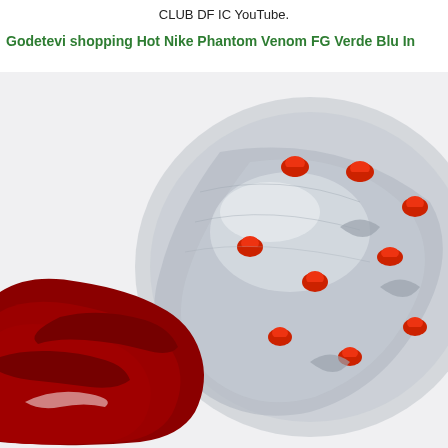CLUB DF IC YouTube.
Godetevi shopping Hot Nike Phantom Venom FG Verde Blu In
[Figure (photo): Close-up photograph of the sole of a Nike Phantom Venom FG football boot. The sole plate is transparent/silver with multiple red conical studs. The upper of the boot is dark red/crimson with a sock-like collar visible at the bottom left.]